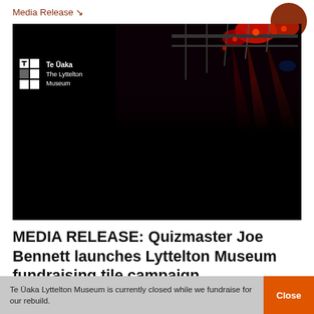Media Release ↘
[Figure (photo): Black background image with museum logo (Te Uaka The Lyttelton Museum) on left and concert/event venue with red stage lighting on upper right]
MEDIA RELEASE: Quizmaster Joe Bennett launches Lyttelton Museum fundraising tile campaign
Te Ūaka Lyttelton Museum is currently closed while we fundraise for our rebuild.
Close